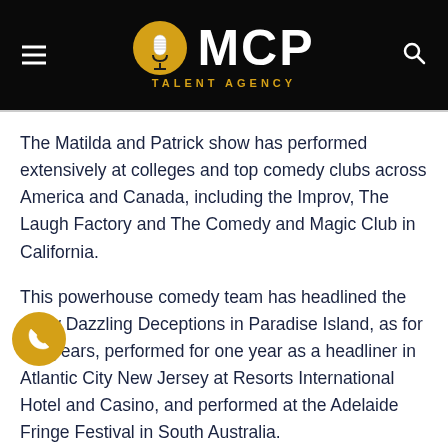MCP TALENT AGENCY
The Matilda and Patrick show has performed extensively at colleges and top comedy clubs across America and Canada, including the Improv, The Laugh Factory and The Comedy and Magic Club in California.
This powerhouse comedy team has headlined the show Dazzling Deceptions in Paradise Island, as for two years, performed for one year as a headliner in Atlantic City New Jersey at Resorts International Hotel and Casino, and performed at the Adelaide Fringe Festival in South Australia.